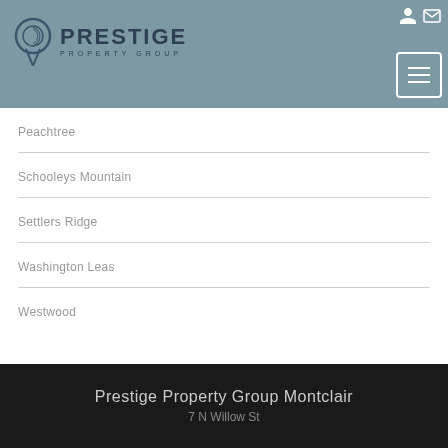[Figure (logo): Prestige Property Group logo with pin icon and text]
Peachtree
Schooleys Mountain
Settlers Ridge
Washington Leas
Westwood
Prestige Property Group Montclair
7 N Willow St